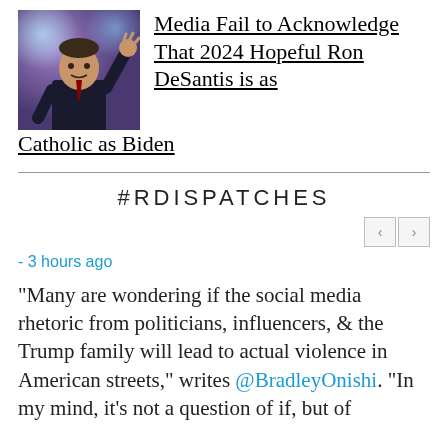[Figure (photo): A man in a dark suit waving, with colorful stage lighting in the background]
Media Fail to Acknowledge That 2024 Hopeful Ron DeSantis is as Catholic as Biden
#RDISPATCHES
- 3 hours ago
"Many are wondering if the social media rhetoric from politicians, influencers, & the Trump family will lead to actual violence in American streets," writes @BradleyOnishi. "In my mind, it's not a question of if, but of